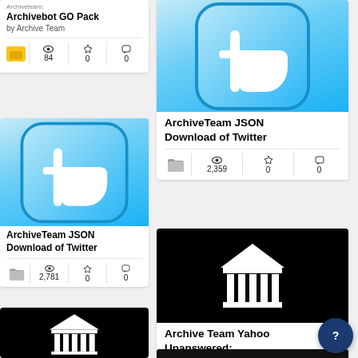[Figure (screenshot): Archivebot GO Pack card (partial top), showing title, 'by Archive Team', views 84, favorites 0, comments 0]
[Figure (screenshot): ArchiveTeam JSON Download of Twitter card (right column top), Twitter bird logo image, views 2,359, favorites 0, comments 0]
[Figure (screenshot): ArchiveTeam JSON Download of Twitter card (left column middle), Twitter bird logo image, views 2,781, favorites 0, comments 0]
[Figure (screenshot): Archive Team Yahoo Unanswered card (right column middle), Internet Archive logo on black background, views 2,129, favorites 0, comments 0]
[Figure (screenshot): Partial card bottom-left with black background showing Internet Archive logo top]
[Figure (screenshot): Partial card bottom-right with black background (cropped)]